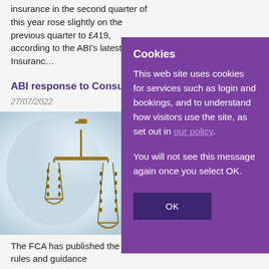insurance in the second quarter of this year rose slightly on the previous quarter to £419, according to the ABI's latest Motor Insuranc…
ABI response to Consume…
27/07/2022
[Figure (photo): Photo of bronze scales of justice hanging, blurred blue background]
The FCA has published the final rules and guidance
Cookies
This web site uses cookies for services such as login and bookings, and to understand how visitors use the site, as set out in our policy.

You will not see this message again once you select OK.
OK